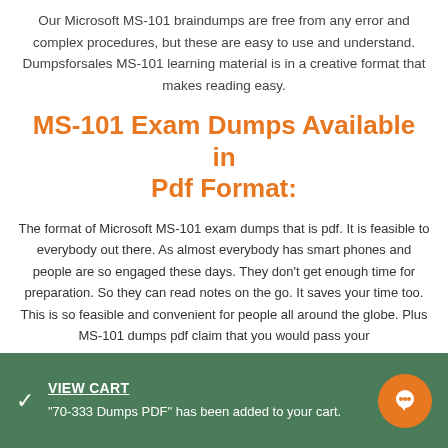Our Microsoft MS-101 braindumps are free from any error and complex procedures, but these are easy to use and understand. Dumpsforsales MS-101 learning material is in a creative format that makes reading easy.
MS-101 Exam Dumps Available in Pdf Format:
The format of Microsoft MS-101 exam dumps that is pdf. It is feasible to everybody out there. As almost everybody has smart phones and people are so engaged these days. They don't get enough time for preparation. So they can read notes on the go. It saves your time too. This is so feasible and convenient for people all around the globe. Plus MS-101 dumps pdf claim that you would pass your
VIEW CART
"70-333 Dumps PDF" has been added to your cart.